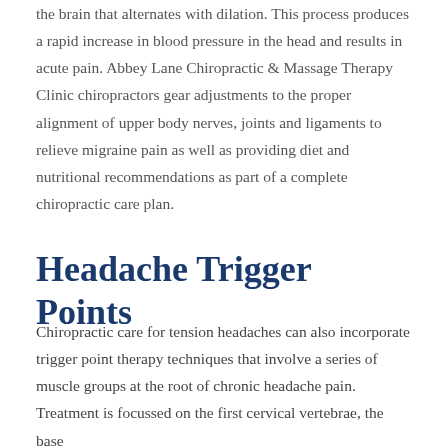the brain that alternates with dilation. This process produces a rapid increase in blood pressure in the head and results in acute pain. Abbey Lane Chiropractic & Massage Therapy Clinic chiropractors gear adjustments to the proper alignment of upper body nerves, joints and ligaments to relieve migraine pain as well as providing diet and nutritional recommendations as part of a complete chiropractic care plan.
Headache Trigger Points
Chiropractic care for tension headaches can also incorporate trigger point therapy techniques that involve a series of muscle groups at the root of chronic headache pain. Treatment is focussed on the first cervical vertebrae, the base